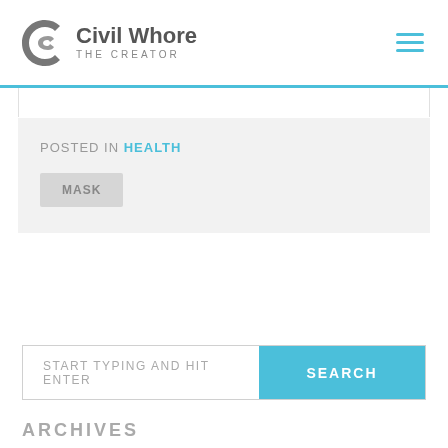Civil Whore The Creator
POSTED IN HEALTH
MASK
START TYPING AND HIT ENTER
ARCHIVES